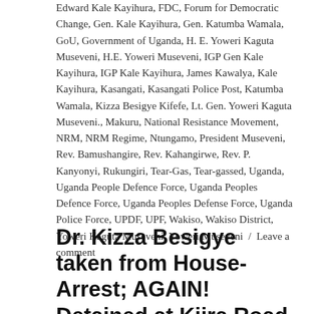Edward Kale Kayihura, FDC, Forum for Democratic Change, Gen. Kale Kayihura, Gen. Katumba Wamala, GoU, Government of Uganda, H. E. Yoweri Kaguta Museveni, H.E. Yoweri Museveni, IGP Gen Kale Kayihura, IGP Kale Kayihura, James Kawalya, Kale Kayihura, Kasangati, Kasangati Police Post, Katumba Wamala, Kizza Besigye Kifefe, Lt. Gen. Yoweri Kaguta Museveni., Makuru, National Resistance Movement, NRM, NRM Regime, Ntungamo, President Museveni, Rev. Bamushangire, Rev. Kahangirwe, Rev. P. Kanyonyi, Rukungiri, Tear-Gas, Tear-gassed, Uganda, Uganda People Defence Force, Uganda Peoples Defence Force, Uganda Peoples Defense Force, Uganda Police Force, UPDF, UPF, Wakiso, Wakiso District, Yoweri Kaguta Museveni, Yoweri Museveni / Leave a comment
Dr. Kizza Besigye taken from House-Arrest; AGAIN! Detained at Kiira Road P.S.: